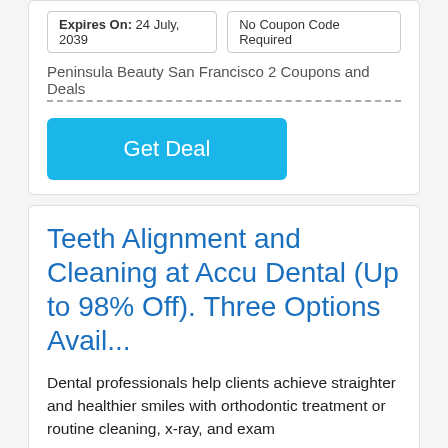Expires On: 24 July, 2039    No Coupon Code Required
Peninsula Beauty San Francisco 2 Coupons and Deals
[Figure (other): Blue 'Get Deal' button]
Teeth Alignment and Cleaning at Accu Dental (Up to 98% Off). Three Options Avail...
Dental professionals help clients achieve straighter and healthier smiles with orthodontic treatment or routine cleaning, x-ray, and exam
Expires On: 27 February, 2040    No Coupon Code Required
Accu Dental Coupons and Deals
[Figure (other): Blue 'Get Deal' button (partial, cut off at bottom)]